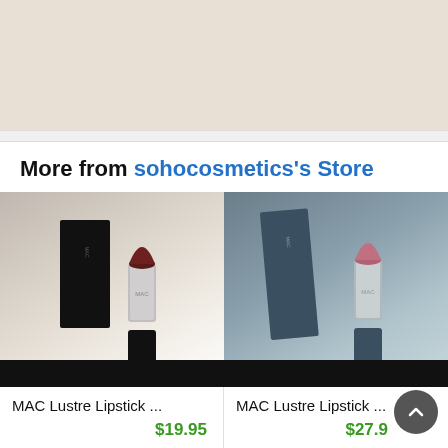[Figure (photo): Top banner area with beige/cream background, possibly part of a product listing page header]
More from sohocosmetics's Store
[Figure (photo): MAC Lustre Lipstick product photo showing black box and dark red lipstick tube with cap removed]
MAC Lustre Lipstick ...
$19.95
[Figure (photo): MAC Lustre Lipstick product photo showing dark grey/teal box and pink/mauve lipstick tube with cap removed]
MAC Lustre Lipstick ...
$27.9...